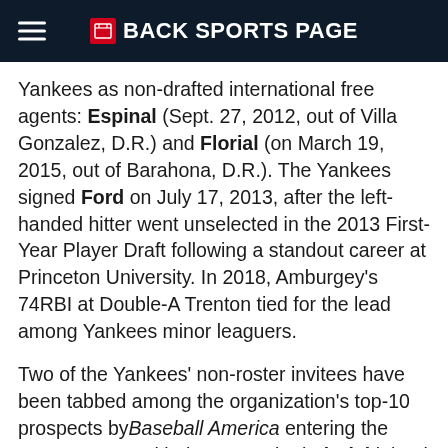BACK SPORTS PAGE
Yankees as non-drafted international free agents: Espinal (Sept. 27, 2012, out of Villa Gonzalez, D.R.) and Florial (on March 19, 2015, out of Barahona, D.R.). The Yankees signed Ford on July 17, 2013, after the left-handed hitter went unselected in the 2013 First-Year Player Draft following a standout career at Princeton University. In 2018, Amburgey's 74RBI at Double-A Trenton tied for the lead among Yankees minor leaguers.
Two of the Yankees' non-roster invitees have been tabbed among the organization's top-10 prospects by Baseball America entering the 2019 season, with the top-ranked Florial joined by King at No. 5. Two additional top-10 prospects in the Yankees